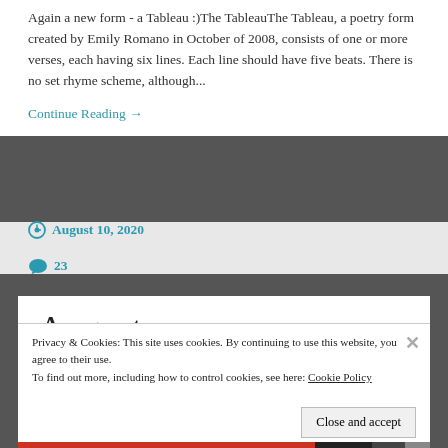Again a new form - a Tableau :)The TableauThe Tableau, a poetry form created by Emily Romano in October of 2008, consists of one or more verses, each having six lines. Each line should have five beats. There is no set rhyme scheme, although...
Continue Reading →
August 10, 2020   23
August
Privacy & Cookies: This site uses cookies. By continuing to use this website, you agree to their use.
To find out more, including how to control cookies, see here: Cookie Policy
Close and accept